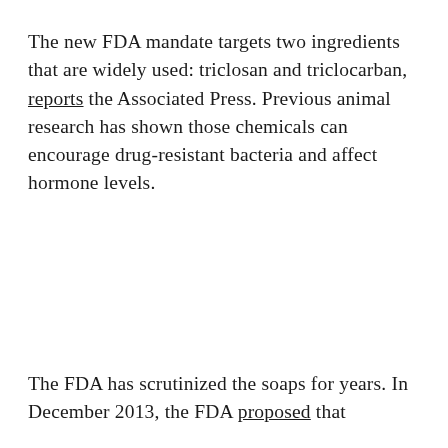The new FDA mandate targets two ingredients that are widely used: triclosan and triclocarban, reports the Associated Press. Previous animal research has shown those chemicals can encourage drug-resistant bacteria and affect hormone levels.
The FDA has scrutinized the soaps for years. In December 2013, the FDA proposed that